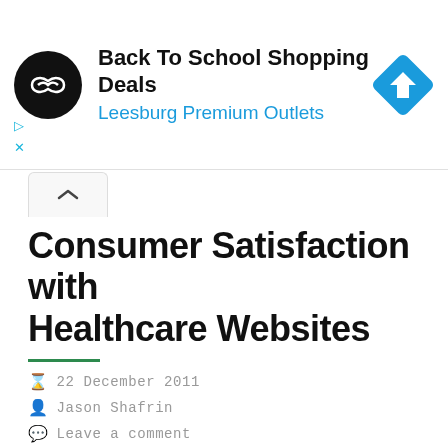[Figure (other): Advertisement banner: Back To School Shopping Deals at Leesburg Premium Outlets, with circular logo and blue diamond navigation icon]
Consumer Satisfaction with Healthcare Websites
22 December 2011
Jason Shafrin
Leave a comment
ForeSee released a study showing which kinds of healthcare-oriented websites do the best job satisfying customers. Their results show health insurance websites